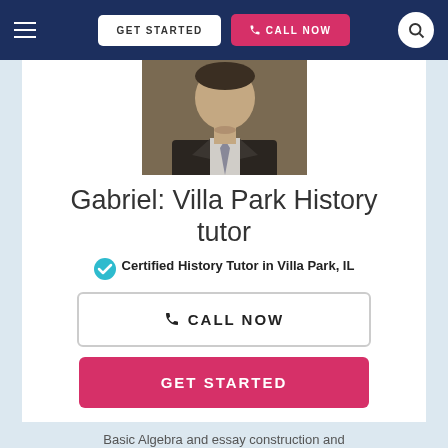≡  GET STARTED  CALL NOW  🔍
[Figure (photo): Profile photo of Gabriel, a male tutor wearing a suit and tie]
Gabriel: Villa Park History tutor
✓ Certified History Tutor in Villa Park, IL
CALL NOW
GET STARTED
Basic Algebra and essay construction and